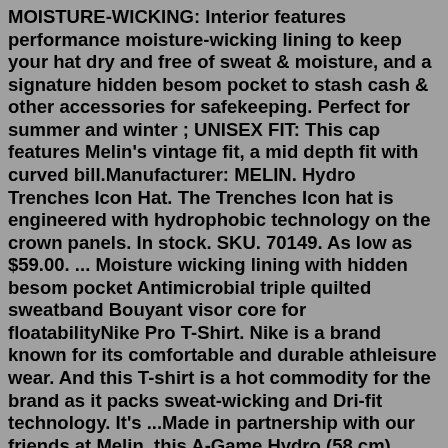MOISTURE-WICKING: Interior features performance moisture-wicking lining to keep your hat dry and free of sweat & moisture, and a signature hidden besom pocket to stash cash & other accessories for safekeeping. Perfect for summer and winter ; UNISEX FIT: This cap features Melin's vintage fit, a mid depth fit with curved bill.Manufacturer: MELIN. Hydro Trenches Icon Hat. The Trenches Icon hat is engineered with hydrophobic technology on the crown panels. In stock. SKU. 70149. As low as $59.00. ... Moisture wicking lining with hidden besom pocket Antimicrobial triple quilted sweatband Bouyant visor core for floatabilityNike Pro T-Shirt. Nike is a brand known for its comfortable and durable athleisure wear. And this T-shirt is a hot commodity for the brand as it packs sweat-wicking and Dri-fit technology. It's ...Made in partnership with our friends at Melin, this A-Game Hydro (58 cm) black hat features a rubberized Skull & Bones logo perfectly placed on the front, while the back features